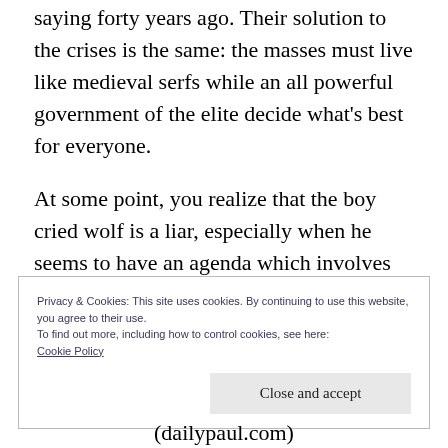saying forty years ago. Their solution to the crises is the same: the masses must live like medieval serfs while an all powerful government of the elite decide what's best for everyone.
At some point, you realize that the boy cried wolf is a liar, especially when he seems to have an agenda which involves getting the villagers to hand over wealth and power to the only boy who can save them from the wolf only he sees.
Privacy & Cookies: This site uses cookies. By continuing to use this website, you agree to their use.
To find out more, including how to control cookies, see here:
Cookie Policy
Close and accept
(dailypaul.com)